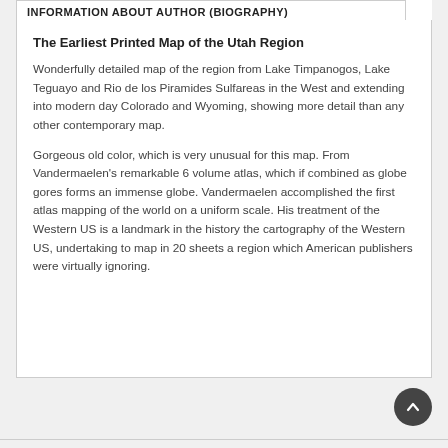INFORMATION ABOUT AUTHOR (BIOGRAPHY)
The Earliest Printed Map of the Utah Region
Wonderfully detailed map of the region from Lake Timpanogos, Lake Teguayo and Rio de los Piramides Sulfareas in the West and extending into modern day Colorado and Wyoming, showing more detail than any other contemporary map.
Gorgeous old color, which is very unusual for this map. From Vandermaelen's remarkable 6 volume atlas, which if combined as globe gores forms an immense globe. Vandermaelen accomplished the first atlas mapping of the world on a uniform scale. His treatment of the Western US is a landmark in the history the cartography of the Western US, undertaking to map in 20 sheets a region which American publishers were virtually ignoring.